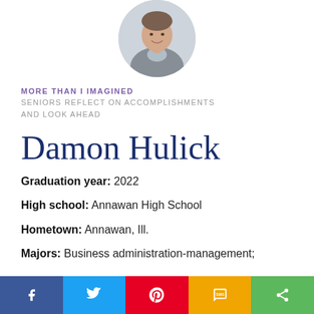[Figure (photo): Circular profile photo of Damon Hulick, a young man in a grey vest, smiling]
MORE THAN I IMAGINED
SENIORS REFLECT ON ACCOMPLISHMENTS AND LOOK AHEAD
Damon Hulick
Graduation year: 2022
High school: Annawan High School
Hometown: Annawan, Ill.
Majors: Business administration-management;